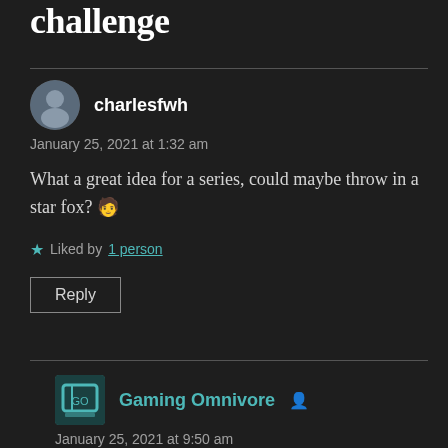challenge
charlesfwh
January 25, 2021 at 1:32 am
What a great idea for a series, could maybe throw in a star fox? 🧑
★ Liked by 1 person
Reply
Gaming Omnivore
January 25, 2021 at 9:50 am